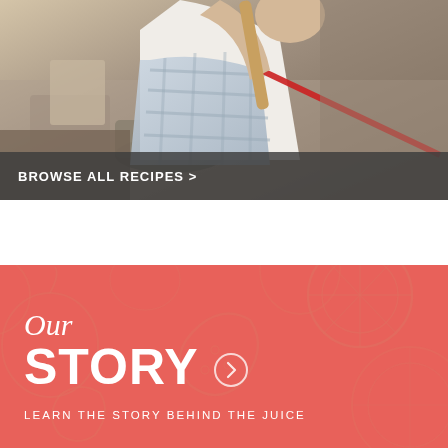[Figure (photo): Person cooking, stirring a pot with a wooden spoon, wearing a plaid apron, kitchen background]
BROWSE ALL RECIPES >
[Figure (illustration): Red/coral background section with decorative fruit pattern (citrus slices, strawberries, apples) in lighter red outline]
Our STORY
LEARN THE STORY BEHIND THE JUICE